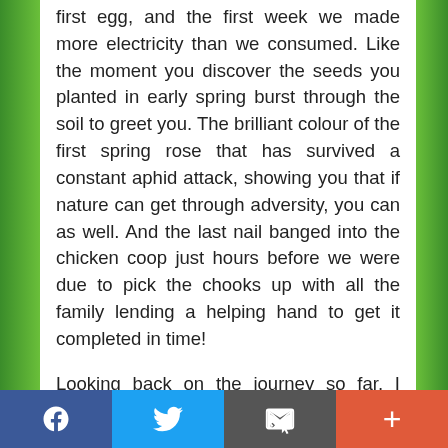first egg, and the first week we made more electricity than we consumed. Like the moment you discover the seeds you planted in early spring burst through the soil to greet you. The brilliant colour of the first spring rose that has survived a constant aphid attack, showing you that if nature can get through adversity, you can as well. And the last nail banged into the chicken coop just hours before we were due to pick the chooks up with all the family lending a helping hand to get it completed in time!
Looking back on the journey so far, I would
Facebook | Twitter | Email | +